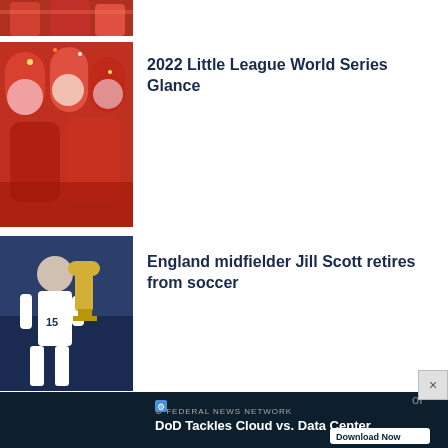[Figure (photo): Sports fans in red celebrating]
[Figure (photo): Fans celebrating in red, confetti]
2022 Little League World Series Glance
[Figure (photo): Soccer player holding trophy]
England midfielder Jill Scott retires from soccer
Recommended
[Figure (photo): Graduation cap on books]
New
Deadline looms to apply for Maryland student loan debt relief tax credit
[Figure (photo): Sparkle background, partial]
of
[Figure (other): Advertisement: DoD Tackles Cloud vs. Data Center - Federal News Network - Download Now]